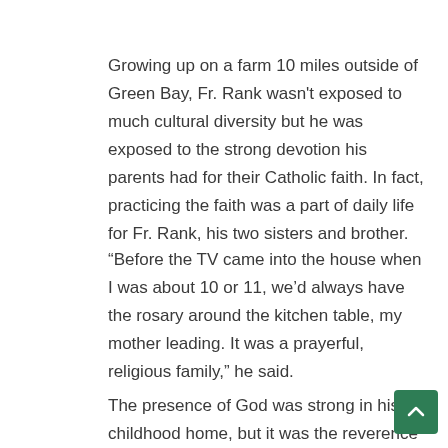Growing up on a farm 10 miles outside of Green Bay, Fr. Rank wasn't exposed to much cultural diversity but he was exposed to the strong devotion his parents had for their Catholic faith. In fact, practicing the faith was a part of daily life for Fr. Rank, his two sisters and brother.
“Before the TV came into the house when I was about 10 or 11, we’d always have the rosary around the kitchen table, my mother leading. It was a prayerful, religious family,” he said.
The presence of God was strong in his childhood home, but it was the reverence for the vocation